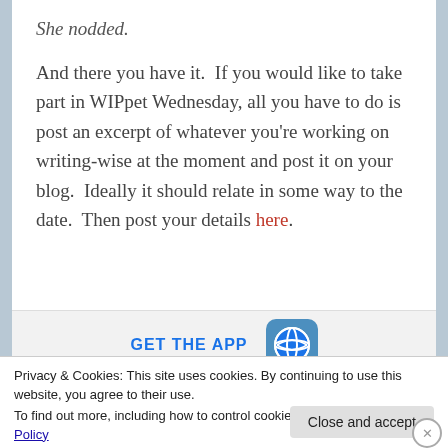She nodded.
And there you have it.  If you would like to take part in WIPpet Wednesday, all you have to do is post an excerpt of whatever you're working on writing-wise at the moment and post it on your blog.  Ideally it should relate in some way to the date.  Then post your details here.
[Figure (logo): GET THE APP banner with WordPress globe logo]
Privacy & Cookies: This site uses cookies. By continuing to use this website, you agree to their use.
To find out more, including how to control cookies, see here: Cookie Policy